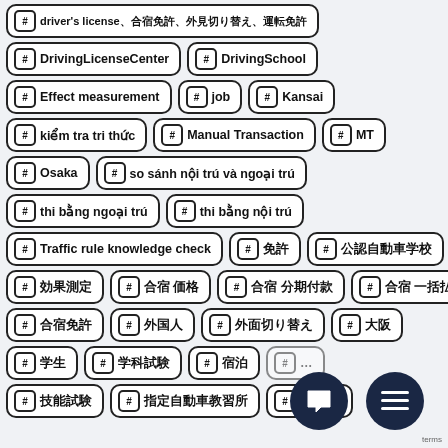# driver's license, 合宿免許, 外見切り替え, 運転免許
# DrivingLicenseCenter
# DrivingSchool
# Effect measurement
# job
# Kansai
# kiểm tra tri thức
# Manual Transaction
# MT
# Osaka
# so sánh nội trú và ngoại trú
# thi bằng ngoại trú
# thi bằng nội trú
# Traffic rule knowledge check
# 免許
# 公認自動車学校
# 効果測定
# 合宿 価格
# 合宿 分期付款
# 合宿 一括払款
# 合宿免許
# 外国人
# 外面切り替え
# 大阪
# 学生
# 学科試験
# 宿泊
# 技能試験
# 指定自動車教習所